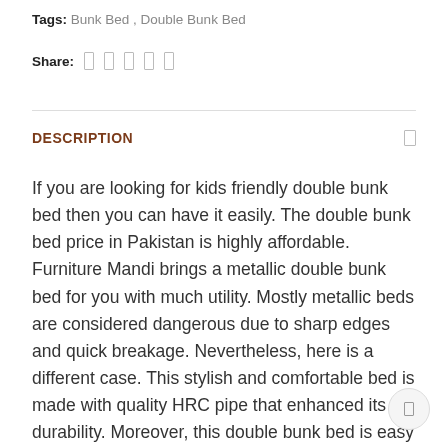Tags: Bunk Bed , Double Bunk Bed
Share:
DESCRIPTION
If you are looking for kids friendly double bunk bed then you can have it easily. The double bunk bed price in Pakistan is highly affordable. Furniture Mandi brings a metallic double bunk bed for you with much utility. Mostly metallic beds are considered dangerous due to sharp edges and quick breakage. Nevertheless, here is a different case. This stylish and comfortable bed is made with quality HRC pipe that enhanced its durability. Moreover, this double bunk bed is easy to move around.